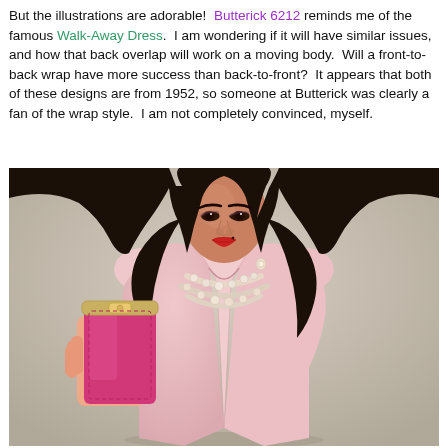But the illustrations are adorable!  Butterick 6212 reminds me of the famous Walk-Away Dress.  I am wondering if it will have similar issues, and how that back overlap will work on a moving body.  Will a front-to-back wrap have more success than back-to-front?  It appears that both of these designs are from 1952, so someone at Butterick was clearly a fan of the wrap style.  I am not completely convinced, myself.
[Figure (photo): A woman with dark wavy hair, red lipstick, pearl necklace, and earrings, wearing a light pink sleeveless wrap-style dress, holding a pink clutch purse. Shot against a beige/neutral background in a vintage-style fashion photo.]